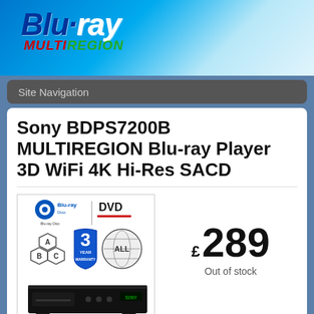[Figure (logo): Blu-ray MULTIREGION logo on blue gradient background header]
Site Navigation
Sony BDPS7200B MULTIREGION Blu-ray Player 3D WiFi 4K Hi-Res SACD
[Figure (photo): Sony BDP-S7200 Blu-ray player product image with Blu-ray/DVD logos, region A/B/C badges, 3 Year Warranty badge, and All region globe badge]
4 images
£ 289
Out of stock
Plays Blu-ray Discs from Regions A, B & C
Plays DVDs from Regions 1-8
4K Compatible